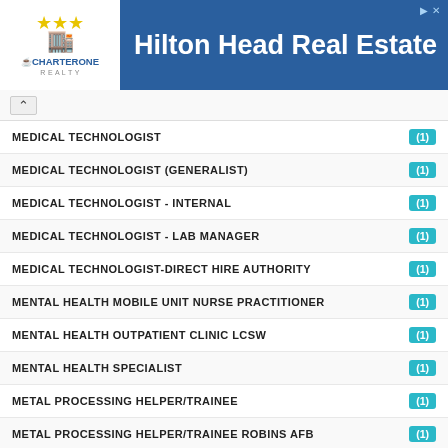[Figure (other): CharterOne Realty banner ad with logo and 'Hilton Head Real Estate' text on blue background]
MEDICAL TECHNOLOGIST (1)
MEDICAL TECHNOLOGIST (GENERALIST) (1)
MEDICAL TECHNOLOGIST - INTERNAL (1)
MEDICAL TECHNOLOGIST - LAB MANAGER (1)
MEDICAL TECHNOLOGIST-DIRECT HIRE AUTHORITY (1)
MENTAL HEALTH MOBILE UNIT NURSE PRACTITIONER (1)
MENTAL HEALTH OUTPATIENT CLINIC LCSW (1)
MENTAL HEALTH SPECIALIST (1)
METAL PROCESSING HELPER/TRAINEE (1)
METAL PROCESSING HELPER/TRAINEE ROBINS AFB (1)
METAL TANK AND RADIATOR REPAIRING-DHA HIRING AUTHORITY